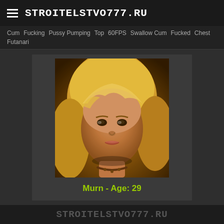STROITELSTVO777.RU
Cum  Fucking  Pussy Pumping  Top  60FPS  Swallow Cum  Fucked  Chest  Futanari
[Figure (photo): Close-up portrait photo of a young blonde woman looking toward the camera]
Murn - Age: 29
STROITELSTVO777.RU